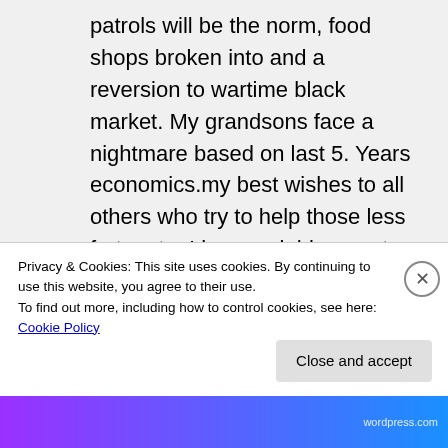patrols will be the norm, food shops broken into and a reversion to wartime black market. My grandsons face a nightmare based on last 5. Years economics.my best wishes to all others who try to help those less fortunate. I have neighbours at door in tears, over 40.00 a week worse off due to bedroom tax and council tax, yet not able to afford to move although no one bedroom places available.massive rouse in demand for one bedroom place. None avail to
Privacy & Cookies: This site uses cookies. By continuing to use this website, you agree to their use.
To find out more, including how to control cookies, see here: Cookie Policy